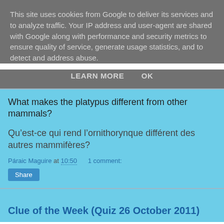This site uses cookies from Google to deliver its services and to analyze traffic. Your IP address and user-agent are shared with Google along with performance and security metrics to ensure quality of service, generate usage statistics, and to detect and address abuse.
LEARN MORE    OK
What makes the platypus different from other mammals?
Qu’est-ce qui rend l’ornithorynque différent des autres mammifères?
Páraic Maguire at 10:50    1 comment:
Share
Clue of the Week (Quiz 26 October 2011)